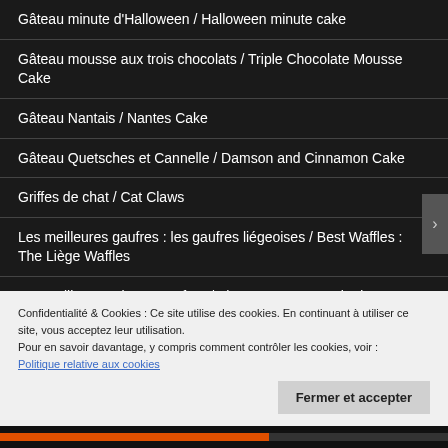Gâteau minute d'Halloween / Halloween minute cake
Gâteau mousse aux trois chocolats / Triple Chocolate Mousse Cake
Gâteau Nantais / Nantes Cake
Gâteau Quetsches et Cannelle / Damson and Cinnamon Cake
Griffes de chat / Cat Claws
Les meilleures gaufres : les gaufres liégeoises / Best Waffles : The Liège Waffles
Les Meilleurs Beignets au four / The Best Oven Cooked Donuts
Mare aux cochons (Gâteau Pur Chocolat) / Pig Pond (Pure Chocolate Cake)
Confidentialité & Cookies : Ce site utilise des cookies. En continuant à utiliser ce site, vous acceptez leur utilisation.
Pour en savoir davantage, y compris comment contrôler les cookies, voir :
Politique relative aux cookies
Fermer et accepter